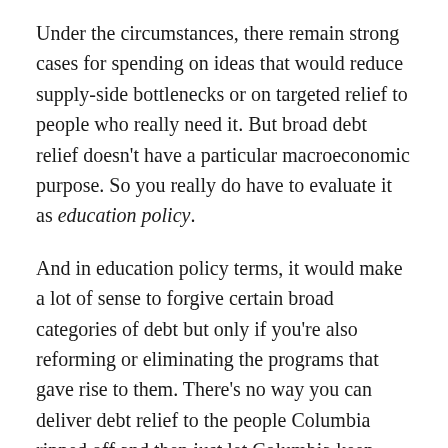Under the circumstances, there remain strong cases for spending on ideas that would reduce supply-side bottlenecks or on targeted relief to people who really need it. But broad debt relief doesn't have a particular macroeconomic purpose. So you really do have to evaluate it as education policy.
And in education policy terms, it would make a lot of sense to forgive certain broad categories of debt but only if you're also reforming or eliminating the programs that gave rise to them. There's no way you can deliver debt relief to the people Columbia ripped off and then just let Columbia keep ripping people off — while the university perhaps quietly whispers that you shouldn't worry about unsustainable debts because maybe they'll be forgiven in the future.
Education with real value